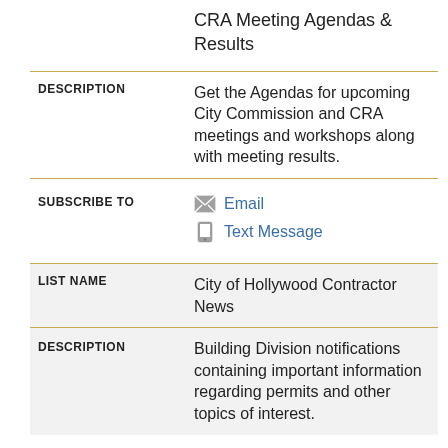CRA Meeting Agendas & Results
| Field | Value |
| --- | --- |
| DESCRIPTION | Get the Agendas for upcoming City Commission and CRA meetings and workshops along with meeting results. |
| SUBSCRIBE TO | Email | Text Message |
| LIST NAME | City of Hollywood Contractor News |
| DESCRIPTION | Building Division notifications containing important information regarding permits and other topics of interest. |